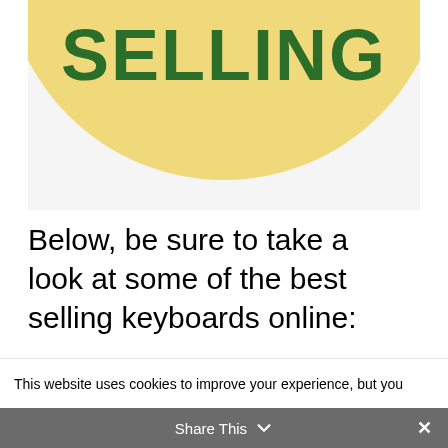[Figure (illustration): Partial view of a circular badge/seal with yellow/tan background showing the text 'SELLING' in bold dark green capital letters at the top, part of a 'Best Selling' badge graphic.]
Below, be sure to take a look at some of the best selling keyboards online:
This website uses cookies to improve your experience, but you
Share This